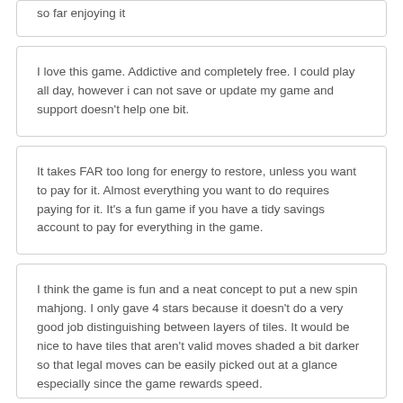so far enjoying it
I love this game. Addictive and completely free. I could play all day, however i can not save or update my game and support doesn't help one bit.
It takes FAR too long for energy to restore, unless you want to pay for it. Almost everything you want to do requires paying for it. It's a fun game if you have a tidy savings account to pay for everything in the game.
I think the game is fun and a neat concept to put a new spin mahjong. I only gave 4 stars because it doesn't do a very good job distinguishing between layers of tiles. It would be nice to have tiles that aren't valid moves shaded a bit darker so that legal moves can be easily picked out at a glance especially since the game rewards speed.